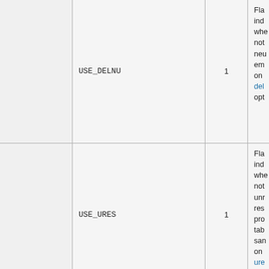|  | Parameter | Value | Description |
| --- | --- | --- | --- |
|  | USE_DELNU | 1 | Fla
ind
whe
not
neu
em
on
del
opt |
|  | USE_URES | 1 | Fla
ind
whe
not
unr
res
pro
tab
san
on
ure |